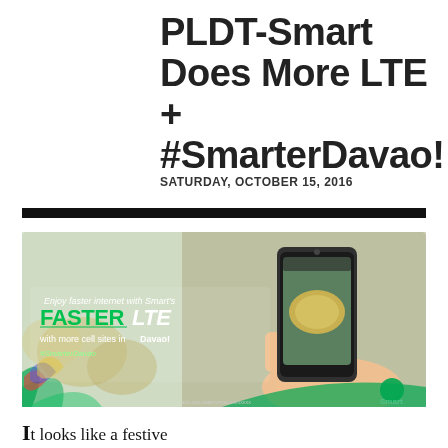PLDT-Smart Does More LTE + #SmarterDavao!
SATURDAY, OCTOBER 15, 2016
[Figure (photo): Smart telecommunications advertisement banner showing a hand holding a smartphone photographing a durian fruit, with text 'Enjoy faster internet with Smart's FASTER LTE with more cell sites in Davao! #SmarterDavao' and Smart logo]
It looks like a festive